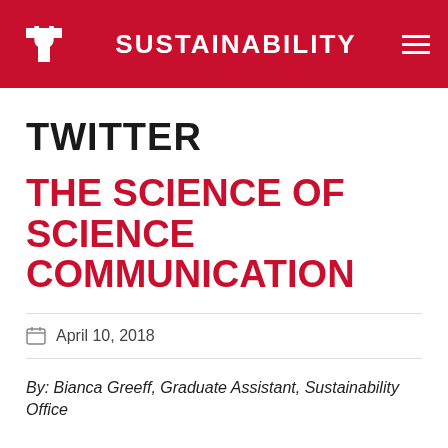SUSTAINABILITY
TWITTER
THE SCIENCE OF SCIENCE COMMUNICATION
April 10, 2018
By: Bianca Greeff, Graduate Assistant, Sustainability Office